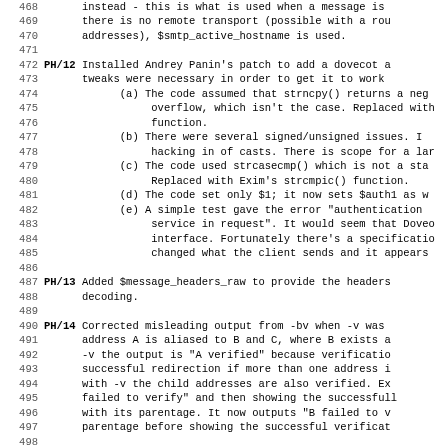467 (partial) changed to use the value of the $helo_data option instead - this is what is used when a message is ...
468 instead - this is what is used when a message is
469 there is no remote transport (possible with a rou
470 addresses), $smtp_active_hostname is used.
471
472 PH/12 Installed Andrey Panin's patch to add a dovecot a
473 tweaks were necessary in order to get it to work
474 (a) The code assumed that strncpy() returns a neg
475 overflow, which isn't the case. Replaced with
476 function.
477 (b) There were several signed/unsigned issues. I
478 hacking in of casts. There is scope for a lar
479 (c) The code used strcasecmp() which is not a sta
480 Replaced with Exim's strcmpic() function.
481 (d) The code set only $1; it now sets $auth1 as w
482 (e) A simple test gave the error "authentication
483 service in request". It would seem that Doveco
484 interface. Fortunately there's a specificatio
485 changed what the client sends and it appears
486
487 PH/13 Added $message_headers_raw to provide the headers
488 decoding.
489
490 PH/14 Corrected misleading output from -bv when -v was
491 address A is aliased to B and C, where B exists a
492 -v the output is "A verified" because verificatio
493 successful redirection if more than one address i
494 with -v the child addresses are also verified. Ex
495 failed to verify" and then showing the successfull
496 with its parentage. It now outputs "B failed to v
497 parentage before showing the successful verificat
498
499 PH/15 Applied Michael Deutschmann's patch to allow DNS